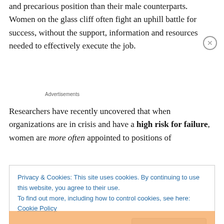and precarious position than their male counterparts. Women on the glass cliff often fight an uphill battle for success, without the support, information and resources needed to effectively execute the job.
Advertisements
Researchers have recently uncovered that when organizations are in crisis and have a high risk for failure, women are more often appointed to positions of
Privacy & Cookies: This site uses cookies. By continuing to use this website, you agree to their use.
To find out more, including how to control cookies, see here: Cookie Policy
Close and accept